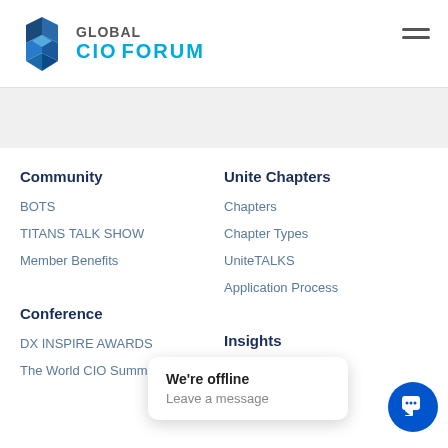[Figure (logo): Global CIO Forum logo with blue geometric hexagon icon and text GLOBAL CIO FORUM]
Community
BOTS
TITANS TALK SHOW
Member Benefits
Unite Chapters
Chapters
Chapter Types
UniteTALKS
Application Process
Conference
DX INSPIRE AWARDS
The World CIO Summit
Insights
News
We're offline
Leave a message